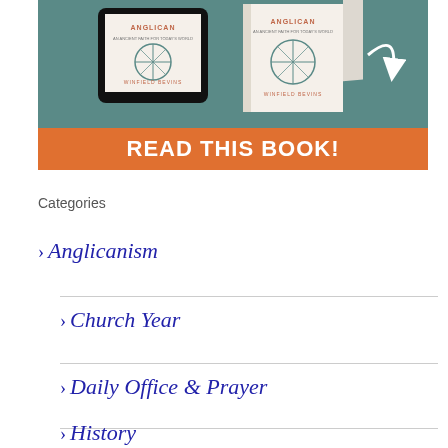[Figure (illustration): Book advertisement banner showing Anglican book covers (tablet and print) on a teal background, with an orange strip at the bottom reading READ THIS BOOK!]
Categories
Anglicanism
Church Year
Daily Office & Prayer
History